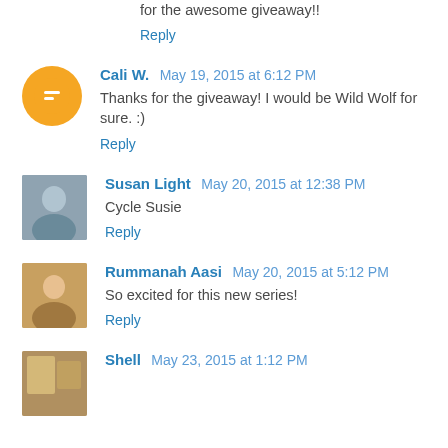for the awesome giveaway!!
Reply
Cali W. May 19, 2015 at 6:12 PM
Thanks for the giveaway! I would be Wild Wolf for sure. :)
Reply
Susan Light May 20, 2015 at 12:38 PM
Cycle Susie
Reply
Rummanah Aasi May 20, 2015 at 5:12 PM
So excited for this new series!
Reply
Shell May 23, 2015 at 1:12 PM